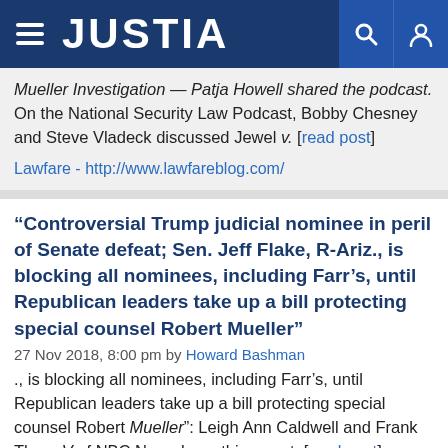JUSTIA
Mueller Investigation — Patja Howell shared the podcast. On the National Security Law Podcast, Bobby Chesney and Steve Vladeck discussed Jewel v. [read post]
Lawfare - http://www.lawfareblog.com/
“Controversial Trump judicial nominee in peril of Senate defeat; Sen. Jeff Flake, R-Ariz., is blocking all nominees, including Farr’s, until Republican leaders take up a bill protecting special counsel Robert Mueller”
27 Nov 2018, 8:00 pm by Howard Bashman
., is blocking all nominees, including Farr’s, until Republican leaders take up a bill protecting special counsel Robert Mueller”: Leigh Ann Caldwell and Frank Thorp V of NBC News have this report. [read post]